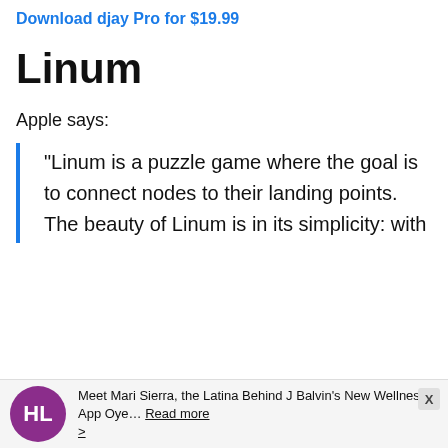Download djay Pro for $19.99
Linum
Apple says:
“Linum is a puzzle game where the goal is to connect nodes to their landing points. The beauty of Linum is in its simplicity: with a clean UI and simple rule-set, Linum challenges users to complete levels with the fewest moves possible. As the number of nodes increases, complex puzzles are…
Meet Mari Sierra, the Latina Behind J Balvin’s New Wellness App Oye… Read more >